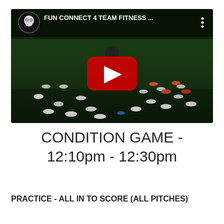[Figure (screenshot): YouTube video thumbnail showing a person on a grass field with training cones arranged in a pattern. Video title reads 'FUN CONNECT 4 TEAM FITNESS ...' with a channel icon and YouTube play button overlay.]
CONDITION GAME - 12:10pm - 12:30pm
PRACTICE  - ALL IN TO SCORE (ALL PITCHES)